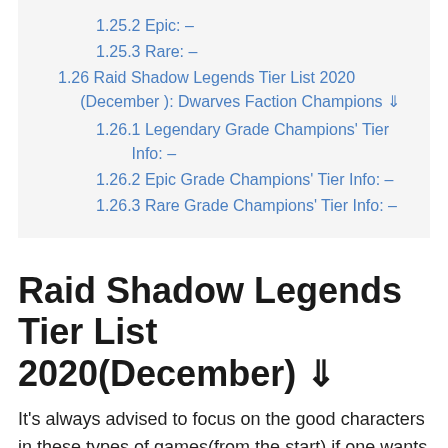1.25.2 Epic: –
1.25.3 Rare: –
1.26 Raid Shadow Legends Tier List 2020 (December ): Dwarves Faction Champions ⇓
1.26.1 Legendary Grade Champions' Tier Info: –
1.26.2 Epic Grade Champions' Tier Info: –
1.26.3 Rare Grade Champions' Tier Info: –
Raid Shadow Legends Tier List 2020(December) ⇓
It's always advised to focus on the good characters in these types of games(from the start) if one wants to dominate in all the game